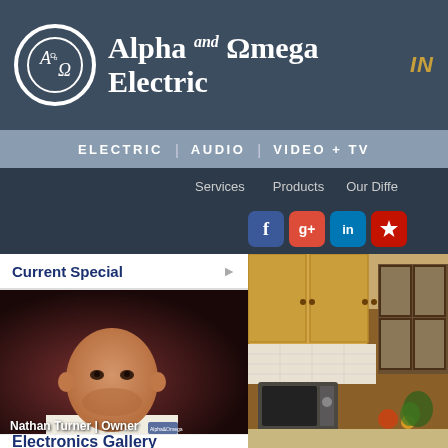[Figure (logo): Alpha and Omega Electric company logo with circular emblem showing Alpha and Omega symbols, company name in serif font on dark blue-grey background]
ELECTRIC | AUDIO | VIDEO + TV
Services   Products   Our Diffe...
[Figure (infographic): Social media icons: Facebook (blue f), Google+ (red g+), LinkedIn (blue in), Yelp (red burst)]
Current Special
[Figure (photo): Photo of Nathan Turner, Owner of Alpha and Omega Electric, bald man with beard wearing white company t-shirt, against dark background]
Nathan Turner | Owner
[Figure (photo): Photo of a well-lit kitchen interior with warm wood cabinets, microwave, kitchen counter, and window]
Electronics Gallery